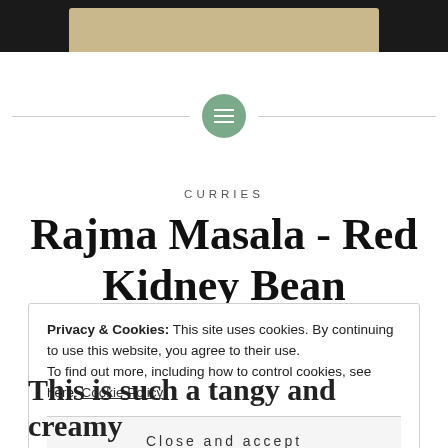[Figure (photo): Dark background photo strip at top of page, showing what appears to be a light-colored object on a dark surface]
[Figure (illustration): Horizontal divider line with a green circular icon containing horizontal lines (menu/list icon) centered on the line]
CURRIES
Rajma Masala - Red Kidney Bean Curry/Chili with
Privacy & Cookies: This site uses cookies. By continuing to use this website, you agree to their use. To find out more, including how to control cookies, see here: Cookie Policy
Close and accept
This is such a tangy and creamy